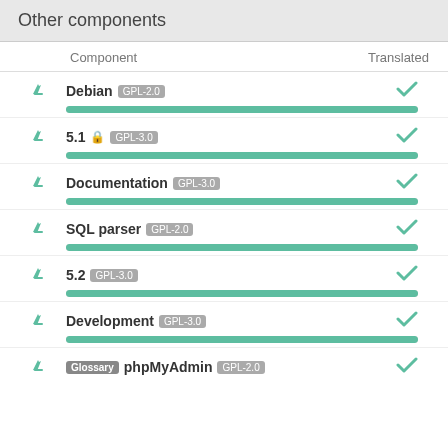Other components
| Component | Translated |
| --- | --- |
| Debian GPL-2.0 | ✓ |
| 5.1 🔒 GPL-3.0 | ✓ |
| Documentation GPL-3.0 | ✓ |
| SQL parser GPL-2.0 | ✓ |
| 5.2 GPL-3.0 | ✓ |
| Development GPL-3.0 | ✓ |
| Glossary phpMyAdmin GPL-2.0 | ✓ |